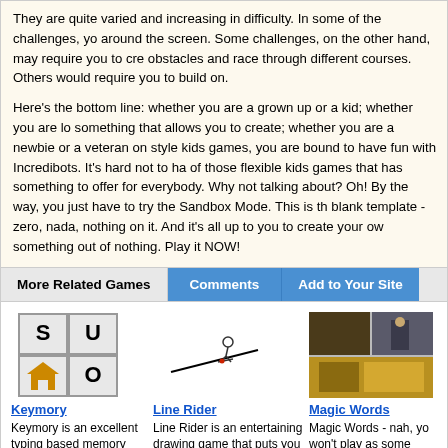They are quite varied and increasing in difficulty. In some of the challenges, you around the screen. Some challenges, on the other hand, may require you to cre obstacles and race through different courses. Others would require you to build on.
Here's the bottom line: whether you are a grown up or a kid; whether you are lo something that allows you to create; whether you are a newbie or a veteran on style kids games, you are bound to have fun with Incredibots. It's hard not to ha of those flexible kids games that has something to offer for everybody. Why not talking about? Oh! By the way, you just have to try the Sandbox Mode. This is th blank template - zero, nada, nothing on it. And it's all up to you to create your ow something out of nothing. Play it NOW!
More Related Games
Comments
Add to Your Site
[Figure (screenshot): Keymory game thumbnail - 2x2 grid with letters S, U, house icon, O]
Keymory
Keymory is an excellent typing based memory game in which you are challenged to find...
[Figure (screenshot): Line Rider game thumbnail - stick figure on a sled going down a drawn line]
Line Rider
Line Rider is an entertaining drawing game that puts you in charge of creating a...
[Figure (screenshot): Magic Words game thumbnail - split image with dark interior and person at door]
Magic Words
Magic Words - nah, you won't play as some treasure hunter in search of fortune...